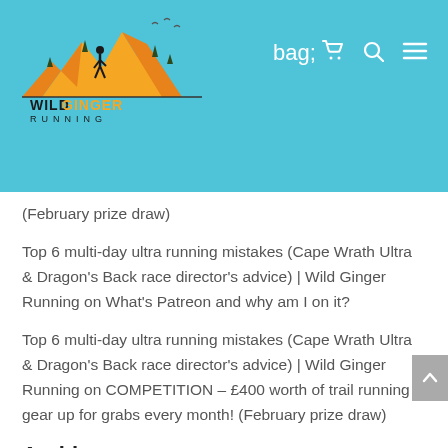[Figure (logo): Wild Ginger Running logo with mountains and runner silhouette in orange, yellow, and black]
(February prize draw)
Top 6 multi-day ultra running mistakes (Cape Wrath Ultra & Dragon's Back race director's advice) | Wild Ginger Running on What's Patreon and why am I on it?
Top 6 multi-day ultra running mistakes (Cape Wrath Ultra & Dragon's Back race director's advice) | Wild Ginger Running on COMPETITION – £400 worth of trail running gear up for grabs every month! (February prize draw)
Archives